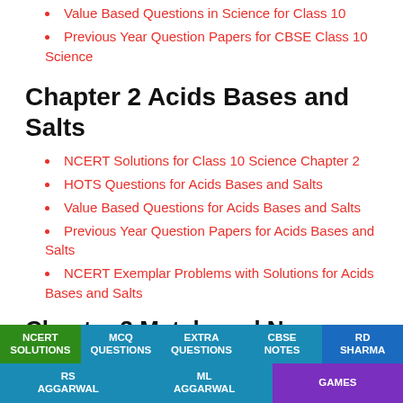Value Based Questions in Science for Class 10
Previous Year Question Papers for CBSE Class 10 Science
Chapter 2 Acids Bases and Salts
NCERT Solutions for Class 10 Science Chapter 2
HOTS Questions for Acids Bases and Salts
Value Based Questions for Acids Bases and Salts
Previous Year Question Papers for Acids Bases and Salts
NCERT Exemplar Problems with Solutions for Acids Bases and Salts
Chapter 3 Metals and Non-metals
NCERT SOLUTIONS | MCQ QUESTIONS | EXTRA QUESTIONS | CBSE NOTES | RD SHARMA | RS AGGARWAL | ML AGGARWAL | GAMES